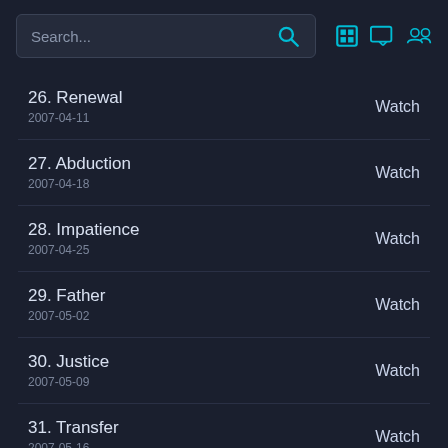Search...
26. Renewal
2007-04-11
Watch
27. Abduction
2007-04-18
Watch
28. Impatience
2007-04-25
Watch
29. Father
2007-05-02
Watch
30. Justice
2007-05-09
Watch
31. Transfer
2007-05-16
Watch